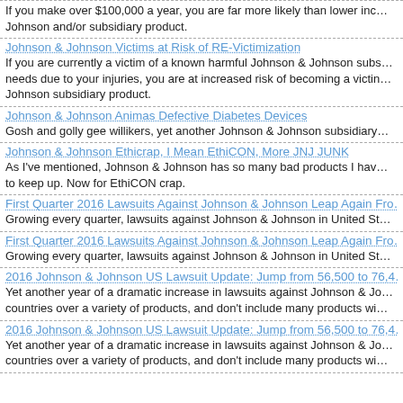If you make over $100,000 a year, you are far more likely than lower income to own a Johnson and/or subsidiary product.
Johnson & Johnson Victims at Risk of RE-Victimization
If you are currently a victim of a known harmful Johnson & Johnson subsidiary product and have financial needs due to your injuries, you are at increased risk of becoming a victim of another Johnson & Johnson subsidiary product.
Johnson & Johnson Animas Defective Diabetes Devices
Gosh and golly gee willikers, yet another Johnson & Johnson subsidiary...
Johnson & Johnson Ethicrap, I Mean EthiCON, More JNJ JUNK
As I've mentioned, Johnson & Johnson has so many bad products I have... to keep up. Now for EthiCON crap.
First Quarter 2016 Lawsuits Against Johnson & Johnson Leap Again Fro...
Growing every quarter, lawsuits against Johnson & Johnson in United St...
First Quarter 2016 Lawsuits Against Johnson & Johnson Leap Again Fro...
Growing every quarter, lawsuits against Johnson & Johnson in United St...
2016 Johnson & Johnson US Lawsuit Update: Jump from 56,500 to 76,4...
Yet another year of a dramatic increase in lawsuits against Johnson & Jo... countries over a variety of products, and don't include many products wi...
2016 Johnson & Johnson US Lawsuit Update: Jump from 56,500 to 76,4...
Yet another year of a dramatic increase in lawsuits against Johnson & Jo... countries over a variety of products, and don't include many products wi...